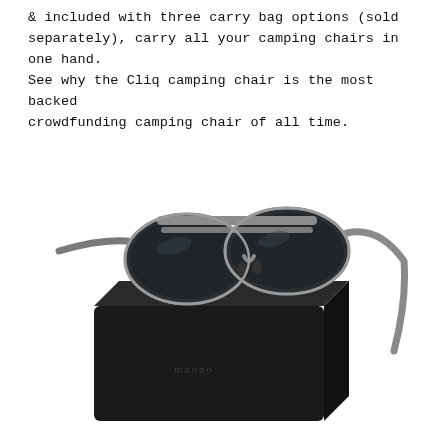& included with three carry bag options (sold separately), carry all your camping chairs in one hand. See why the Cliq camping chair is the most backed crowdfunding camping chair of all time.
[Figure (photo): A pair of dark-lens aviator-style sunglasses with silver metal frame resting on top of a black rectangular case/box. The sunglasses have grey polarized lenses and grey/silver temples. The black box has a small logo embossed on its side.]